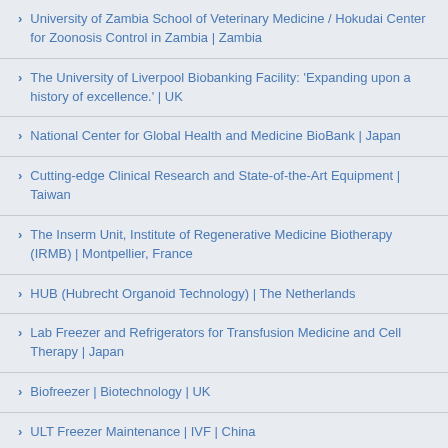University of Zambia School of Veterinary Medicine / Hokudai Center for Zoonosis Control in Zambia | Zambia
The University of Liverpool Biobanking Facility: 'Expanding upon a history of excellence.' | UK
National Center for Global Health and Medicine BioBank | Japan
Cutting-edge Clinical Research and State-of-the-Art Equipment | Taiwan
The Inserm Unit, Institute of Regenerative Medicine Biotherapy (IRMB) | Montpellier, France
HUB (Hubrecht Organoid Technology) | The Netherlands
Lab Freezer and Refrigerators for Transfusion Medicine and Cell Therapy | Japan
Biofreezer | Biotechnology | UK
ULT Freezer Maintenance | IVF | China